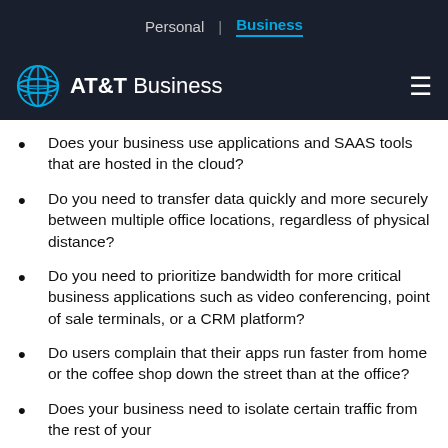Personal | Business
[Figure (logo): AT&T Business logo with globe icon and hamburger menu]
Does your business use applications and SAAS tools that are hosted in the cloud?
Do you need to transfer data quickly and more securely between multiple office locations, regardless of physical distance?
Do you need to prioritize bandwidth for more critical business applications such as video conferencing, point of sale terminals, or a CRM platform?
Do users complain that their apps run faster from home or the coffee shop down the street than at the office?
Does your business need to isolate certain traffic from the rest of your...